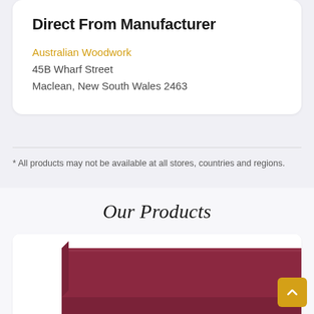Direct From Manufacturer
Australian Woodwork
45B Wharf Street
Maclean, New South Wales 2463
* All products may not be available at all stores, countries and regions.
Our Products
[Figure (photo): Photo of a dark red/maroon wooden cutting board or panel, showing its corner and surface at an angle against a white background]